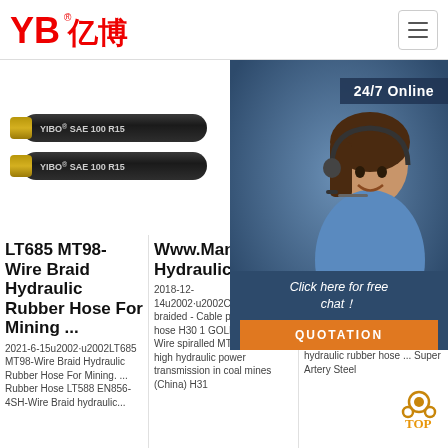YB亿博 — navigation header with logo and hamburger menu
[Figure (photo): Four hydraulic rubber hoses labeled YIBO SAE 100 R15 (two hoses) and YIBO EN 857 1SC and YIBO EN 857 2SC]
[Figure (photo): Customer service representative woman with headset smiling, with '24/7 Online' label and chat popup with 'Click here for free chat!' and QUOTATION button]
LT685 MT98-Wire Braid Hydraulic Rubber Hose For Mining ...
2021-6-15u2002·u2002LT685 MT98-Wire Braid Hydraulic Rubber Hose For Mining. ... Rubber Hose LT588 EN856-4SH-Wire Braid hydraulic...
Www.Manuli-Hydraulics
2018-12-14u2002·u2002CPH/Hy Wire braided - Cable protection hose H30 1 GOLDENMINE Wire spiralled MT/T 98 Very high hydraulic power transmission in coal mines (China) H31
Art Ste Wo Hydraulic Rubber Hose Letone
2021-8-17u2002·u2002Artery series steel wire wound hydraulic rubber hose ... Super Artery Steel